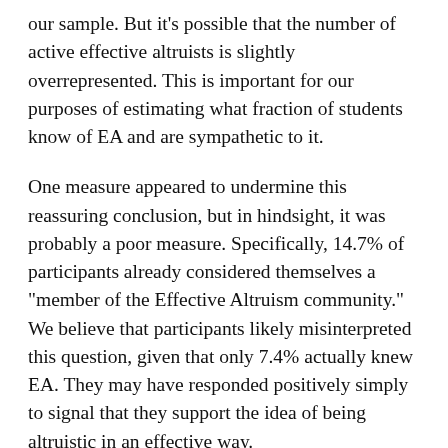our sample. But it's possible that the number of active effective altruists is slightly overrepresented. This is important for our purposes of estimating what fraction of students know of EA and are sympathetic to it.
One measure appeared to undermine this reassuring conclusion, but in hindsight, it was probably a poor measure. Specifically, 14.7% of participants already considered themselves a "member of the Effective Altruism community." We believe that participants likely misinterpreted this question, given that only 7.4% actually knew EA. They may have responded positively simply to signal that they support the idea of being altruistic in an effective way.
Additionally, for comparison, we asked participants whether they had heard of other schools of thought such as utilitarianism and longtermism. See our findings in